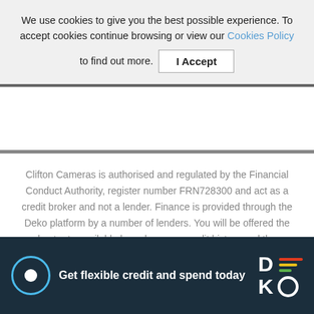We use cookies to give you the best possible experience. To accept cookies continue browsing or view our Cookies Policy to find out more. I Accept
Clifton Cameras is authorised and regulated by the Financial Conduct Authority, register number FRN728300 and act as a credit broker and not a lender. Finance is provided through the Deko platform by a number of lenders. You will be offered the best rate available based on your credit history and the lenders' credit decision policies.
© 2022 Clifton Cameras. All Rights Reserved.
[Figure (logo): Reevoo logo, Verified by text, MasterCard logo]
Get flexible credit and spend today